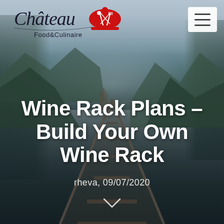[Figure (photo): Background photo of a railway track perspective leading into the distance, flanked by tall evergreen trees on both sides, with misty mountains and a cloudy sky in the background. The scene has a moody, atmospheric quality with a bluish-green color palette.]
Château Food & Culinaire
Wine Rack Plans – Build Your Own Wine Rack
rheva, 09/07/2020